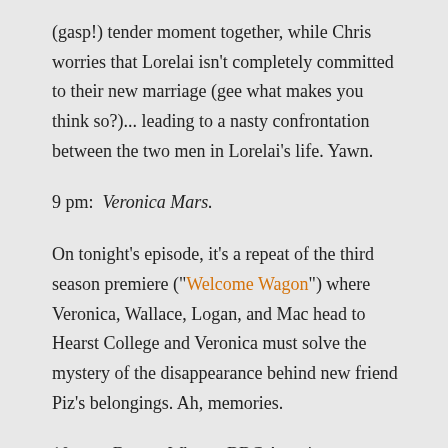(gasp!) tender moment together, while Chris worries that Lorelai isn't completely committed to their new marriage (gee what makes you think so?)... leading to a nasty confrontation between the two men in Lorelai's life. Yawn.
9 pm:  Veronica Mars.
On tonight's episode, it's a repeat of the third season premiere ("Welcome Wagon") where Veronica, Wallace, Logan, and Mac head to Hearst College and Veronica must solve the mystery of the disappearance behind new friend Piz's belongings. Ah, memories.
10 pm:  Doctor Who on BBC America.
While Sci Fi might be airing Season Two of the newest